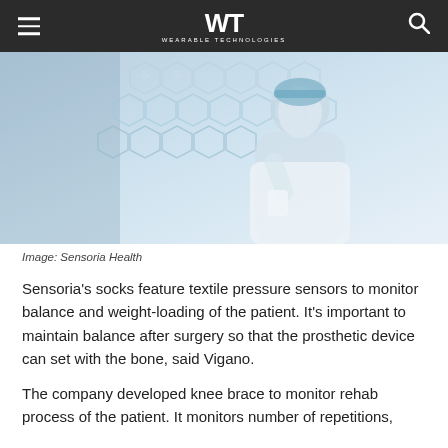WT WEARABLE TECHNOLOGIES
[Figure (photo): Medical professional in scrubs and surgical cap looking upward, surrounded by digital health icons and hexagonal medical interface graphics, blue-toned lighting.]
Image: Sensoria Health
Sensoria’s socks feature textile pressure sensors to monitor balance and weight-loading of the patient. It’s important to maintain balance after surgery so that the prosthetic device can set with the bone, said Vigano.
The company developed knee brace to monitor rehab process of the patient. It monitors number of repetitions,